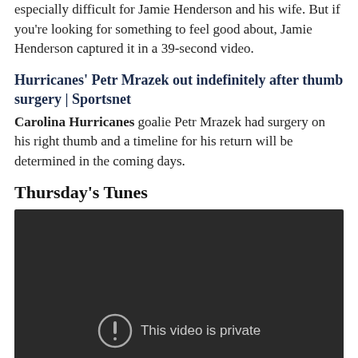especially difficult for Jamie Henderson and his wife. But if you're looking for something to feel good about, Jamie Henderson captured it in a 39-second video.
Hurricanes' Petr Mrazek out indefinitely after thumb surgery | Sportsnet
Carolina Hurricanes goalie Petr Mrazek had surgery on his right thumb and a timeline for his return will be determined in the coming days.
Thursday's Tunes
[Figure (screenshot): Dark video embed showing 'This video is private' message with exclamation mark icon in a circle]